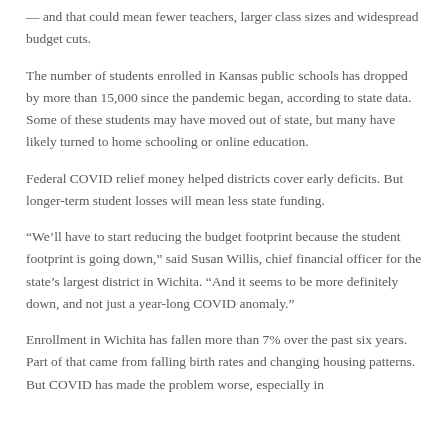— and that could mean fewer teachers, larger class sizes and widespread budget cuts.
The number of students enrolled in Kansas public schools has dropped by more than 15,000 since the pandemic began, according to state data. Some of these students may have moved out of state, but many have likely turned to home schooling or online education.
Federal COVID relief money helped districts cover early deficits. But longer-term student losses will mean less state funding.
“We’ll have to start reducing the budget footprint because the student footprint is going down,” said Susan Willis, chief financial officer for the state’s largest district in Wichita. “And it seems to be more definitely down, and not just a year-long COVID anomaly.”
Enrollment in Wichita has fallen more than 7% over the past six years. Part of that came from falling birth rates and changing housing patterns. But COVID has made the problem worse, especially in